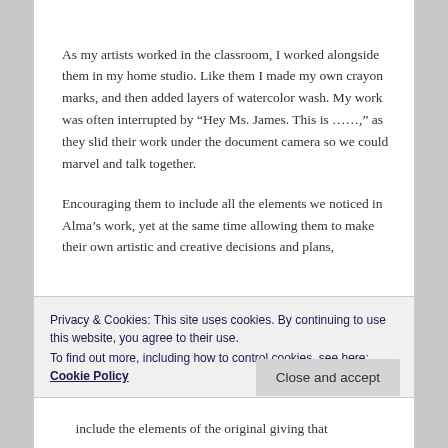As my artists worked in the classroom, I worked alongside them in my home studio. Like them I made my own crayon marks, and then added layers of watercolor wash. My work was often interrupted by “Hey Ms. James. This is ……,” as they slid their work under the document camera so we could marvel and talk together.
Encouraging them to include all the elements we noticed in Alma’s work, yet at the same time allowing them to make their own artistic and creative decisions and plans,
Privacy & Cookies: This site uses cookies. By continuing to use this website, you agree to their use.
To find out more, including how to control cookies, see here: Cookie Policy
include the elements of the original giving that